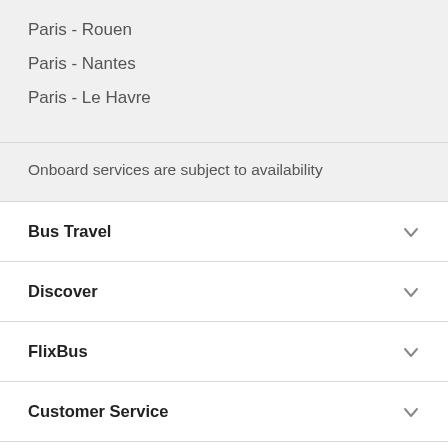Paris - Rouen
Paris - Nantes
Paris - Le Havre
Onboard services are subject to availability
Bus Travel
Discover
FlixBus
Customer Service
FlixBus App